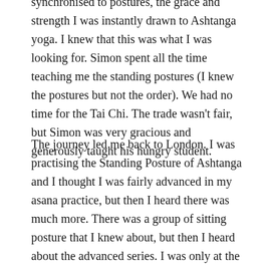synchronised to postures, the grace and strength I was instantly drawn to Ashtanga yoga. I knew that this was what I was looking for. Simon spent all the time teaching me the standing postures (I knew the postures but not the order). We had no time for the Tai Chi. The trade wasn't fair, but Simon was very gracious and generously taught his hungry student.
The journey led me back to London. I was practising the Standing Posture of Ashtanga and I thought I was fairly advanced in my asana practice, but then I heard there was much more. There was a group of sitting posture that I knew about, but then I heard about the advanced series. I was only at the start of my journey. I had to find a teacher, but there was no one teaching in London. I didn't know anyone else doing this sort of yoga